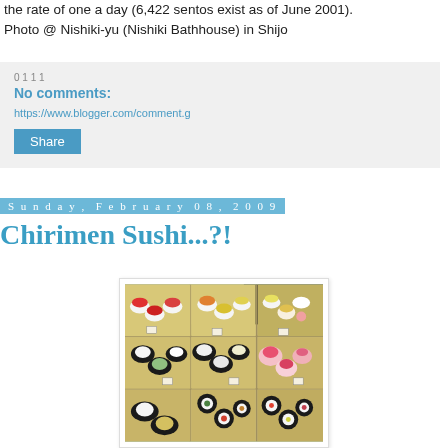the rate of one a day (6,422 sentos exist as of June 2001). Photo @ Nishiki-yu (Nishiki Bathhouse) in Shijo
No comments:
Share
Sunday, February 08, 2009
Chirimen Sushi...?!
[Figure (photo): Photo of colorful fabric chirimen (crêpe textile) sushi items displayed on wooden trays in a shop, showing various sushi shapes made from patterned cloth in black, white, red, orange, yellow and green colors arranged in grid-like wooden boxes.]